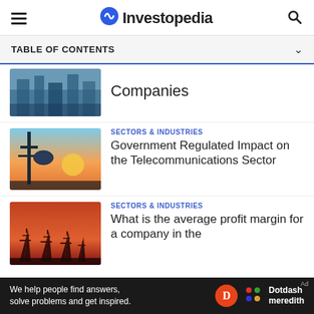Investopedia
TABLE OF CONTENTS
Companies
SECTORS & INDUSTRIES
Government Regulated Impact on the Telecommunications Sector
SECTORS & INDUSTRIES
What is the average profit margin for a company in the
We help people find answers, solve problems and get inspired. Dotdash meredith